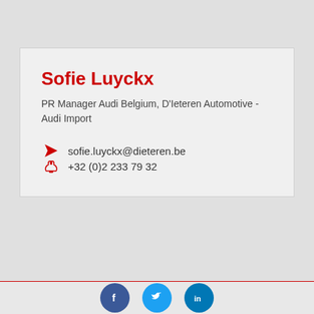Sofie Luyckx
PR Manager Audi Belgium, D'Ieteren Automotive - Audi Import
sofie.luyckx@dieteren.be
+32 (0)2 233 79 32
[Figure (infographic): Social media icons: Facebook (blue circle with f), Twitter (light blue circle with bird), LinkedIn (blue circle with in)]